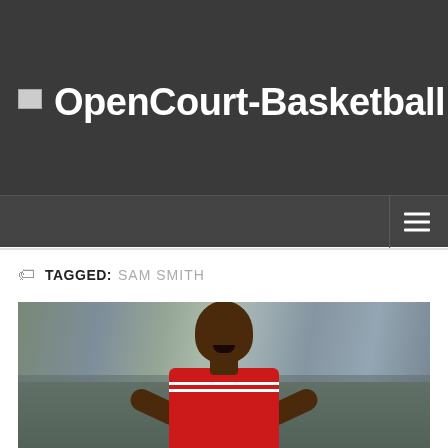OpenCourt-Basketball
TAGGED: SAM SMITH
[Figure (photo): Basketball player in red Chicago Bulls jersey, appearing to be Michael Jordan, with mouth open, in front of a blurred crowd background]